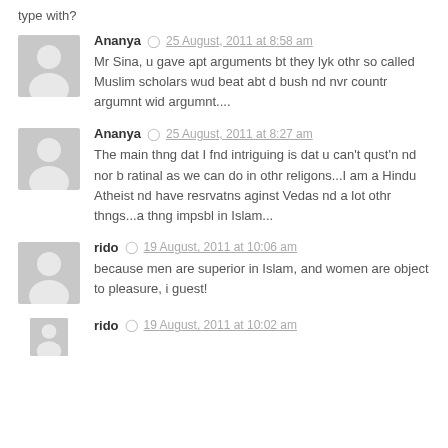type with?
Ananya  25 August, 2011 at 8:58 am
Mr Sina, u gave apt arguments bt they lyk othr so called Muslim scholars wud beat abt d bush nd nvr countr argumnt wid argumnt....
Ananya  25 August, 2011 at 8:27 am
The main thng dat I fnd intriguing is dat u can't qust'n nd nor b ratinal as we can do in othr religons...I am a Hindu Atheist nd have resrvatns aginst Vedas nd a lot othr thngs...a thng impsbl in Islam...
rido  19 August, 2011 at 10:06 am
because men are superior in Islam, and women are object to pleasure, i guest!
rido  19 August, 2011 at 10:02 am